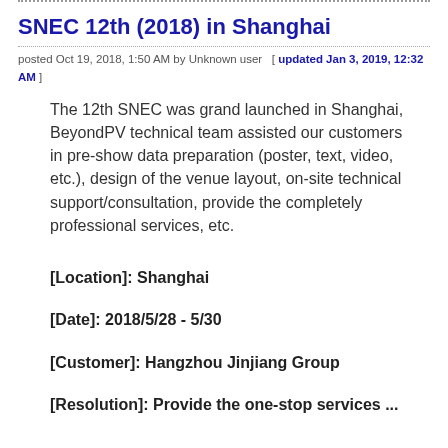SNEC 12th (2018) in Shanghai
posted Oct 19, 2018, 1:50 AM by Unknown user  [ updated Jan 3, 2019, 12:32 AM ]
The 12th SNEC was grand launched in Shanghai, BeyondPV technical team assisted our customers in pre-show data preparation (poster, text, video, etc.), design of the venue layout, on-site technical support/consultation, provide the completely professional services, etc.
[Location]: Shanghai
[Date]: 2018/5/28 - 5/30
[Customer]: Hangzhou Jinjiang Group
[Resolution]: Provide the one-stop services ...